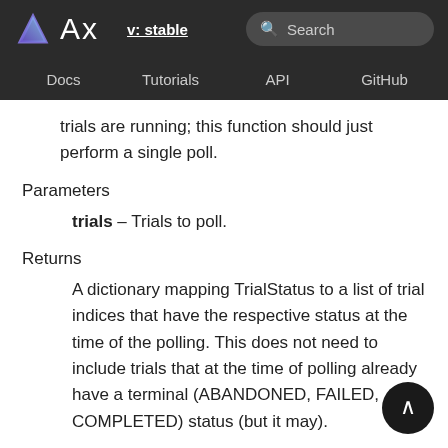Ax  v: stable  Search  Docs  Tutorials  API  GitHub
trials are running; this function should just perform a single poll.
Parameters
trials – Trials to poll.
Returns
A dictionary mapping TrialStatus to a list of trial indices that have the respective status at the time of the polling. This does not need to include trials that at the time of polling already have a terminal (ABANDONED, FAILED, COMPLETED) status (but it may).